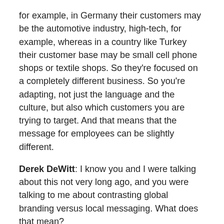for example, in Germany their customers may be the automotive industry, high-tech, for example, whereas in a country like Turkey their customer base may be small cell phone shops or textile shops. So they're focused on a completely different business. So you're adapting, not just the language and the culture, but also which customers you are trying to target. And that means that the message for employees can be slightly different.
Derek DeWitt: I know you and I were talking about this not very long ago, and you were talking to me about contrasting global branding versus local messaging. What does that mean?
Derek DeWitt: Right. I think that it's a balance between the message of headquarters and the message of the local business unit. It's always a